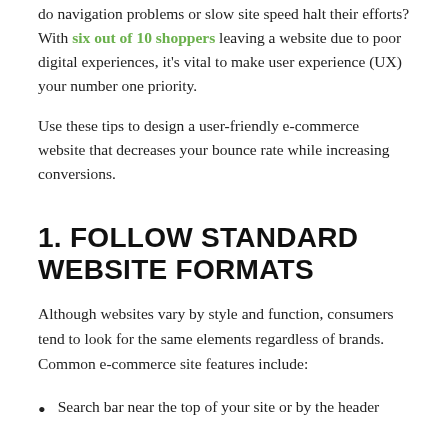do navigation problems or slow site speed halt their efforts? With six out of 10 shoppers leaving a website due to poor digital experiences, it's vital to make user experience (UX) your number one priority.
Use these tips to design a user-friendly e-commerce website that decreases your bounce rate while increasing conversions.
1. FOLLOW STANDARD WEBSITE FORMATS
Although websites vary by style and function, consumers tend to look for the same elements regardless of brands. Common e-commerce site features include:
Search bar near the top of your site or by the header